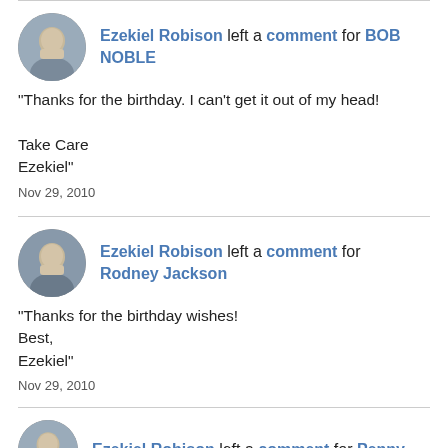Ezekiel Robison left a comment for BOB NOBLE
"Thanks for the birthday. I can't get it out of my head!

Take Care
Ezekiel"
Nov 29, 2010
Ezekiel Robison left a comment for Rodney Jackson
"Thanks for the birthday wishes!
Best,
Ezekiel"
Nov 29, 2010
Ezekiel Robison left a comment for Penny